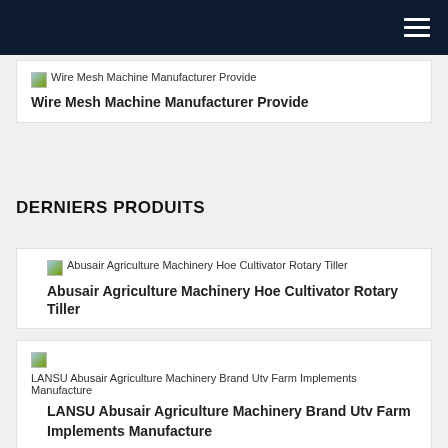[Figure (screenshot): Broken image placeholder with alt text: Wire Mesh Machine Manufacturer Provide]
Wire Mesh Machine Manufacturer Provide
DERNIERS PRODUITS
[Figure (screenshot): Broken image placeholder with alt text: Abusair Agriculture Machinery Hoe Cultivator Rotary Tiller]
Abusair Agriculture Machinery Hoe Cultivator Rotary Tiller
[Figure (screenshot): Broken image placeholder with alt text: LANSU Abusair Agriculture Machinery Brand Utv Farm Implements Manufacture]
LANSU Abusair Agriculture Machinery Brand Utv Farm Implements Manufacture